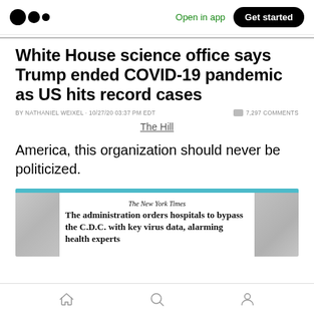Medium app header with logo, Open in app, Get started
White House science office says Trump ended COVID-19 pandemic as US hits record cases
BY NATHANIEL WEIXEL · 10/27/20 03:37 PM EDT   7,297 COMMENTS
The Hill
America, this organization should never be politicized.
[Figure (screenshot): New York Times article card: 'The administration orders hospitals to bypass the C.D.C. with key virus data, alarming health experts']
Bottom navigation bar with home, search, and profile icons